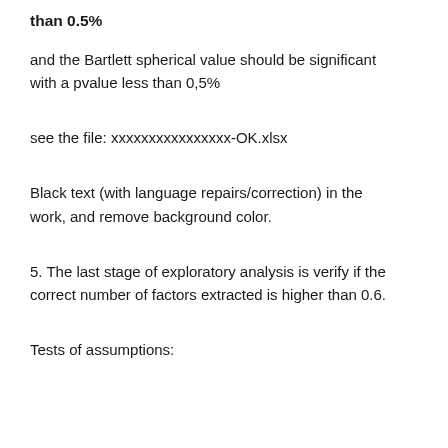than 0.5%
and the Bartlett spherical value should be significant with a pvalue less than 0,5%
see the file: xxxxxxxxxxxxxxxx-OK.xlsx
Black text (with language repairs/correction) in the work, and remove background color.
5. The last stage of exploratory analysis is verify if the correct number of factors extracted is higher than 0.6.
Tests of assumptions: